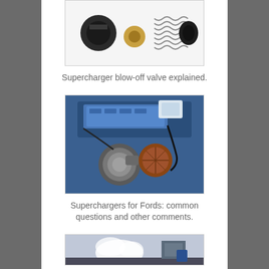[Figure (photo): Supercharger blow-off valve components: black housing parts, brass fitting, and metal coil spring on white background]
Supercharger blow-off valve explained.
[Figure (photo): Blue engine bay with supercharger, intake, and air filter assembly on a Ford vehicle]
Superchargers for Fords: common questions and other comments.
[Figure (photo): Partial view of supercharger or engine component with steam/smoke visible]